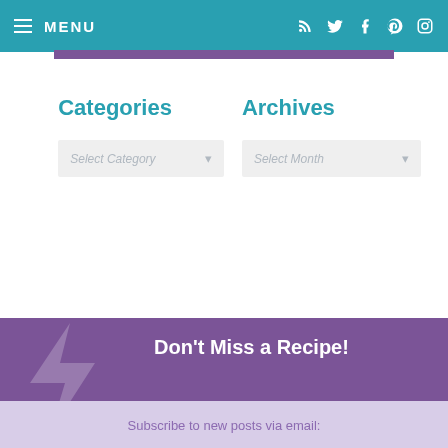≡ MENU
Categories
Archives
Select Category
Select Month
Don't Miss a Recipe!
Subscribe to new posts via email: